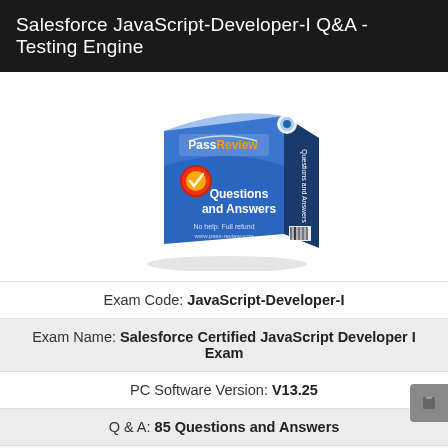Salesforce JavaScript-Developer-I Q&A - Testing Engine
[Figure (illustration): PassReview branded box product illustration showing 'Questions and Answers' exam prep material with blue box design, checkmark badge, and barcode]
Exam Code: JavaScript-Developer-I
Exam Name: Salesforce Certified JavaScript Developer I Exam
PC Software Version: V13.25
Q & A: 85 Questions and Answers
Uses the World Class JavaScript-Developer-I Testing Engine
Free updates for one year.